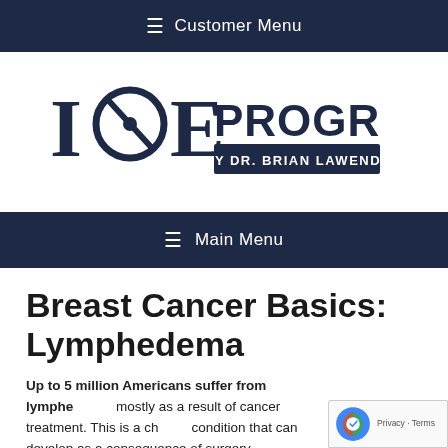☰  Customer Menu
[Figure (logo): IOE Program by Dr. Brian Lawenda logo — large stylized 'I', 'O' with crosshair/slash, 'E' in dark navy, followed by 'PROGRAM' in large bold text and 'BY DR. BRIAN LAWENDA' in a dark banner below]
☰  Main Menu
Breast Cancer Basics: Lymphedema
Up to 5 million Americans suffer from lymphedema, mostly as a result of cancer treatment. This is a chronic condition that can develop as a consequence of surgery,